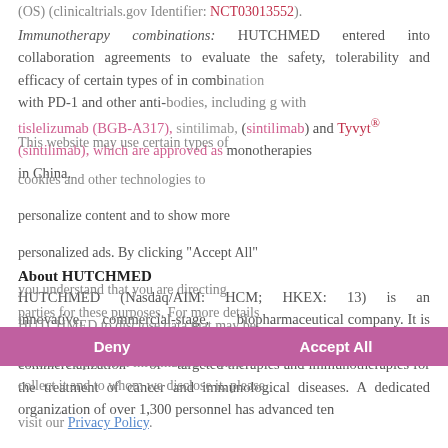(OS) (clinicaltrials.gov Identifier: NCT03013552).
Immunotherapy combinations: HUTCHMED entered into collaboration agreements to evaluate the safety, tolerability and efficacy of certain types of in combination with PD-1 and other anti-bodies, including with tislelizumab (BGB-A317), sintilimab, (sintilimab), which are approved as monotherapies in China.
This website may use certain types of cookies and other technologies to personalize content and to show more personalized ads. By clicking "Accept All" you understand that you are directing HUTCHMED to disclose data that may be considered personal information to third parties for these purposes. For more details on what information we collect, why we collect it and to whom we disclose it, please visit our Privacy Policy.
About HUTCHMED
HUTCHMED (Nasdaq/AIM: HCM; HKEX: 13) is an innovative, commercial-stage, biopharmaceutical company. It is committed to the discovery, global development and commercialization of targeted therapies and immunotherapies for the treatment of cancer and immunological diseases. A dedicated organization of over 1,300 personnel has advanced ten